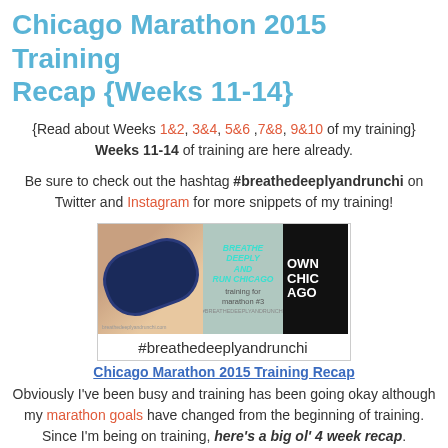Chicago Marathon 2015 Training Recap {Weeks 11-14}
{Read about Weeks 1&2, 3&4, 5&6, 7&8, 9&10 of my training} Weeks 11-14 of training are here already.
Be sure to check out the hashtag #breathedeeplyandrunchi on Twitter and Instagram for more snippets of my training!
[Figure (photo): Composite image showing a wristband/fitness tracker on an arm, a banner reading 'BREATHE DEEPLY AND RUN CHICAGO training for marathon #3 #BREATHEDEEPLYANDRUNCHI', and a Nike 'OWN CHICAGO' image]
#breathedeeplyandrunchi
Chicago Marathon 2015 Training Recap
Obviously I've been busy and training has been going okay although my marathon goals have changed from the beginning of training. Since I'm being on training, here's a big ol' 4 week recap.
Week 11